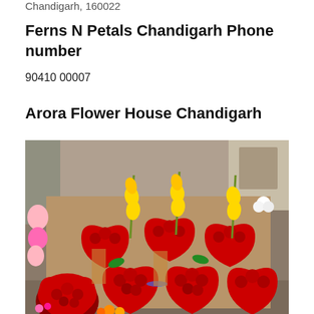Chandigarh, 160022
Ferns N Petals Chandigarh Phone number
90410 00007
Arora Flower House Chandigarh
[Figure (photo): A flower shop display showing numerous heart-shaped floral arrangements made of red roses, along with yellow gladioli and other colorful flowers arranged on a wall/stand outside a shop.]